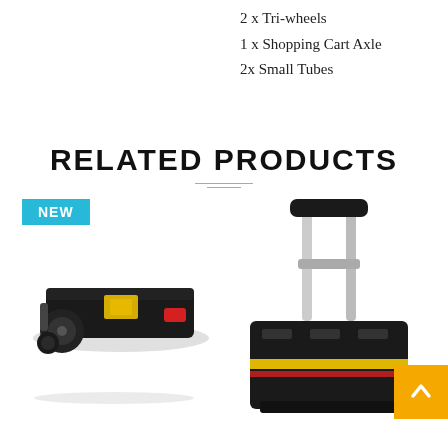2 x Tri-wheels
1 x Shopping Cart Axle
2x Small Tubes
RELATED PRODUCTS
[Figure (photo): Two related products: left shows a folding black cart/case with a 'NEW' badge and red latch, with tri-wheels visible; right shows a folding shopping cart with an extended silver/aluminum handle and a black collapsible box base with yellow markings. Bottom-right corner has an orange 'back to top' button with an upward chevron arrow.]